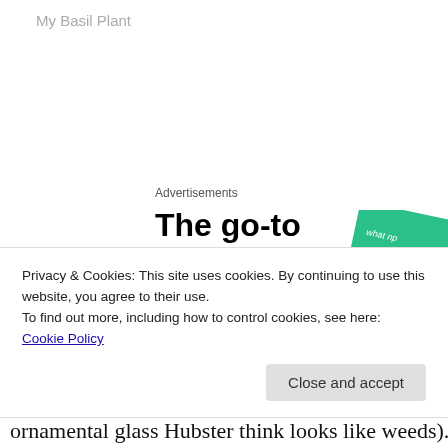My Basil Plant
Advertisements
[Figure (illustration): Advertisement for a podcast app showing the text 'The go-to app for podcast lovers.' with a red 'Download now' call to action, and decorative podcast app card images including '99% Invisible' on a black card and a green card.]
Privacy & Cookies: This site uses cookies. By continuing to use this website, you agree to their use.
To find out more, including how to control cookies, see here: Cookie Policy
ornamental glass Hubster think looks like weeds). I